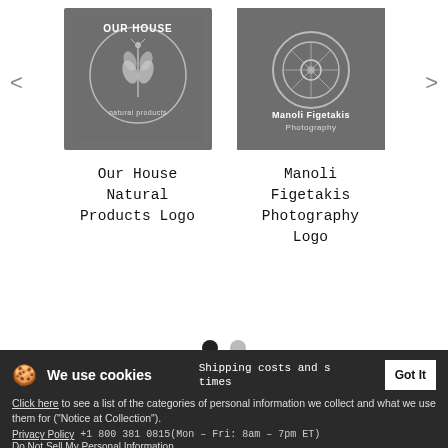[Figure (logo): Our House Natural Products Logo — dark gray square with white wheat/leaf illustration and circular text 'OUR HOUSE natural products']
Our House Natural Products Logo
[Figure (logo): Manoli Figetakis Photography Logo — dark gray rectangle with circular camera aperture icon and text 'Manoli Figetakis Photography']
Manoli Figetakis Photography Logo
Privacy
Tracking ∨
Copyright information
Legal Info
🌐 United States ∨
Terms & Conditions
We use cookies
Shipping costs and s times
Click here to see a list of the categories of personal information we collect and what we use them for ("Notice at Collection").
+1 800 381 0815(Mon – Fri: 8am – 7pm ET)
Privacy Policy
Do Not Sell My Personal Information
By using this website, I agree to the Terms and Conditions